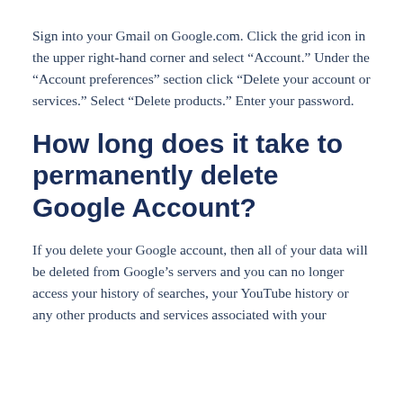Sign into your Gmail on Google.com. Click the grid icon in the upper right-hand corner and select “Account.” Under the “Account preferences” section click “Delete your account or services.” Select “Delete products.” Enter your password.
How long does it take to permanently delete Google Account?
If you delete your Google account, then all of your data will be deleted from Google’s servers and you can no longer access your history of searches, your YouTube history or any other products and services associated with your